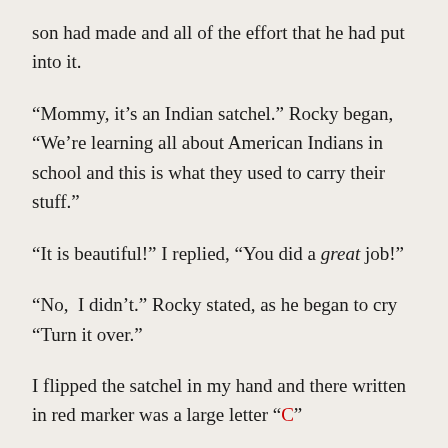son had made and all of the effort that he had put into it.
“Mommy, it’s an Indian satchel.” Rocky began, “We’re learning all about American Indians in school and this is what they used to carry their stuff.”
“It is beautiful!” I replied, “You did a great job!”
“No,  I didn’t.” Rocky stated, as he began to cry “Turn it over.”
I flipped the satchel in my hand and there written in red marker was a large letter “C”